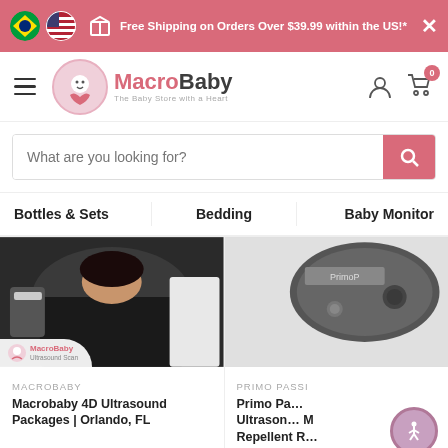Free Shipping on Orders Over $39.99 within the US!*
[Figure (screenshot): MacroBaby website navigation bar with logo, hamburger menu, user icon, and cart icon showing 0 items]
What are you looking for?
Bottles & Sets
Bedding
Baby Monitor
[Figure (photo): Macrobaby 4D Ultrasound Packages | Orlando, FL - pregnant woman receiving ultrasound scan with MacroBaby Ultrasound Scan logo overlay]
MACROBABY
Macrobaby 4D Ultrasound Packages | Orlando, FL
[Figure (photo): Primo Passi product image - partial view of Primo Passi branded device]
PRIMO PASSI
Primo Passi Ultrasonic Mosquito Repellent Protect R...